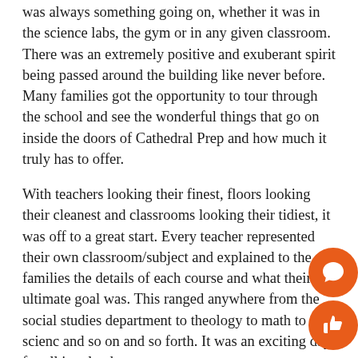was always something going on, whether it was in the science labs, the gym or in any given classroom. There was an extremely positive and exuberant spirit being passed around the building like never before. Many families got the opportunity to tour through the school and see the wonderful things that go on inside the doors of Cathedral Prep and how much it truly has to offer.
With teachers looking their finest, floors looking their cleanest and classrooms looking their tidiest, it was off to a great start. Every teacher represented their own classroom/subject and explained to the families the details of each course and what their ultimate goal was. This ranged anywhere from the social studies department to theology to math to science and so on and so forth. It was an exciting day for all involved.
[Figure (illustration): Two orange circular icon buttons in the bottom right corner: a speech bubble/comment icon on top and a thumbs-up/like icon on the bottom.]